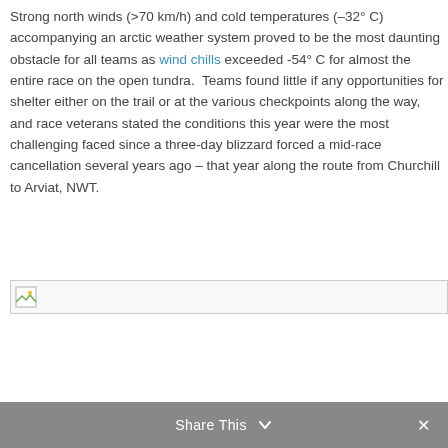Strong north winds (>70 km/h) and cold temperatures (–32° C) accompanying an arctic weather system proved to be the most daunting obstacle for all teams as wind chills exceeded -54° C for almost the entire race on the open tundra.  Teams found little if any opportunities for shelter either on the trail or at the various checkpoints along the way, and race veterans stated the conditions this year were the most challenging faced since a three-day blizzard forced a mid-race cancellation several years ago – that year along the route from Churchill to Arviat, NWT.
[Figure (photo): Broken/missing image placeholder with small image icon in top-left corner]
Share This ∨  ✕